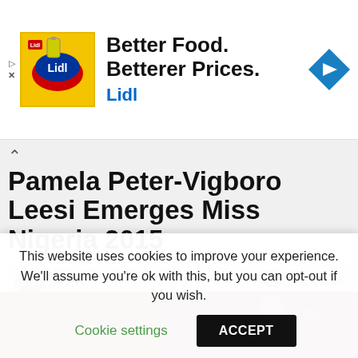[Figure (screenshot): Lidl advertisement banner with yellow logo box, 'Better Food. Betterer Prices.' headline, 'Lidl' brand name in blue, and blue navigation arrow icon]
Pamela Peter-Vigboro Leesi Emerges Miss Nigeria 2015
by PH   1.3k Views
98 SHARES
[Figure (photo): Partial photo strip showing event scene with warm lighting]
This website uses cookies to improve your experience. We'll assume you're ok with this, but you can opt-out if you wish.
Cookie settings   ACCEPT